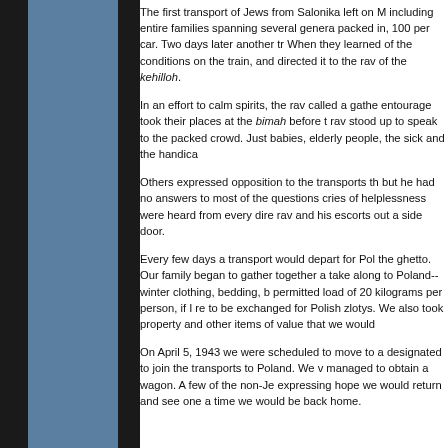The first transport of Jews from Salonika left on March 15, 1943, including entire families spanning several generations, packed in, 100 per car. Two days later another transport left. When they learned of the conditions on the trains, a protest arose and directed it to the rav of the kehilloh.
In an effort to calm spirits, the rav called a gathering. His entourage took their places at the bimah before the crowd. The rav stood up to speak to the packed crowd. Just then crying babies, elderly people, the sick and the handicapped...
Others expressed opposition to the transports through Germany, but he had no answers to most of the questions presented, and cries of helplessness were heard from every direction. They led the rav and his escorts out a side door.
Every few days a transport would depart for Poland, emptying the ghetto. Our family began to gather together articles to take along to Poland--winter clothing, bedding, books. The permitted load of 20 kilograms per person, if I remember, was to be exchanged for Polish zlotys. We also took jewelry, gold property and other items of value that we would...
On April 5, 1943 we were scheduled to move to a section designated to join the transports to Poland. We were helped and managed to obtain a wagon. A few of the non-Jewish neighbors, expressing hope we would return and see one another again some time we would be back home.